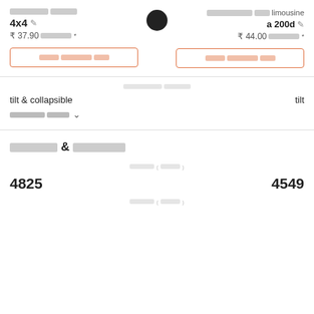[redacted] [redacted]-[redacted] 4x4 ₹ 37.90 [redacted]*
[Figure (logo): Black circle icon/logo]
[redacted] [redacted] limousine a 200d ₹ 44.00 [redacted]*
[redacted] [redacted] [redacted] (button left)
[redacted] [redacted] [redacted] (button right)
[redacted] [redacted]
tilt & collapsible
tilt
[redacted] [redacted] ∨
[redacted] & [redacted]
[redacted] (([redacted]))
4825
4549
[redacted] (([redacted]))